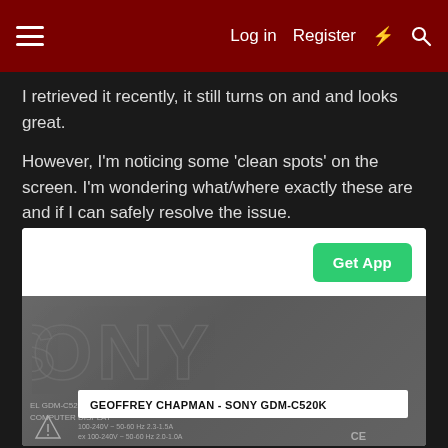Log in | Register
I retrieved it recently, it still turns on and and looks great.
However, I'm noticing some 'clean spots' on the screen. I'm wondering what/where exactly these are and if I can safely resolve the issue.
[Figure (photo): Photo of the back of a Sony GDM-C520K computer display showing the embossed SONY logo and a white label reading 'GEOFFREY CHAPMAN - SONY GDM-C520K'. Below the label are safety/electrical rating markings and CE certification symbols.]